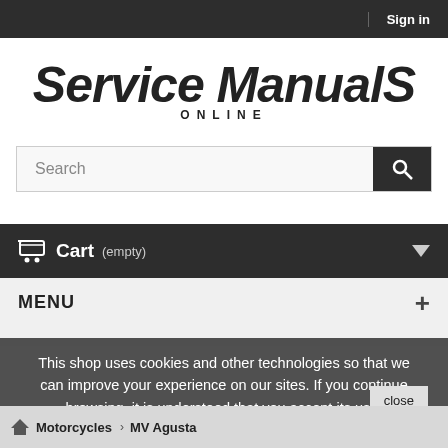Sign in
[Figure (logo): Service ManualS Online logo — large italic bold text with stylized S characters]
Search
Cart (empty)
MENU
This shop uses cookies and other technologies so that we can improve your experience on our sites. If you continue browsing, it is understood that you accept its use.
close
Motorcycles  MV Agusta